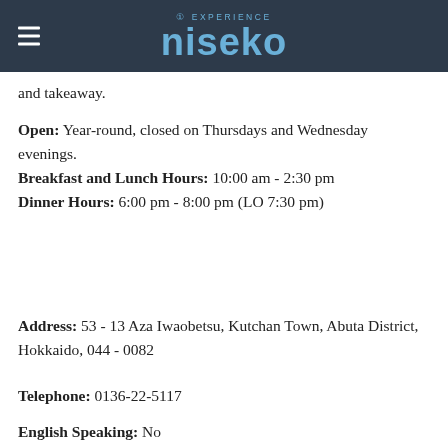[Figure (logo): Experience Niseko logo with hamburger menu icon on dark navy background header bar]
and takeaway.
Open: Year-round, closed on Thursdays and Wednesday evenings.
Breakfast and Lunch Hours: 10:00 am - 2:30 pm
Dinner Hours: 6:00 pm - 8:00 pm (LO 7:30 pm)
Address: 53 - 13 Aza Iwaobetsu, Kutchan Town, Abuta District, Hokkaido, 044 - 0082
Telephone: 0136-22-5117
English Speaking: No